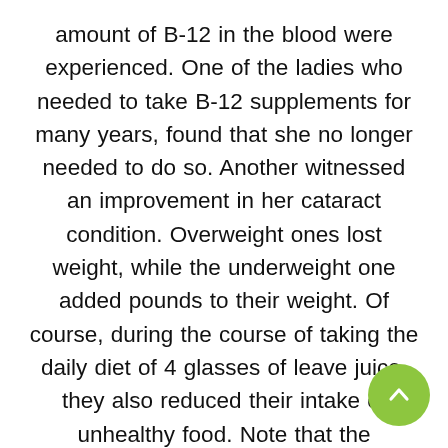amount of B-12 in the blood were experienced. One of the ladies who needed to take B-12 supplements for many years, found that she no longer needed to do so. Another witnessed an improvement in her cataract condition. Overweight ones lost weight, while the underweight one added pounds to their weight. Of course, during the course of taking the daily diet of 4 glasses of leave juice, they also reduced their intake of unhealthy food. Note that the vegetables for juicing must be grown organically or in the wild to be effective